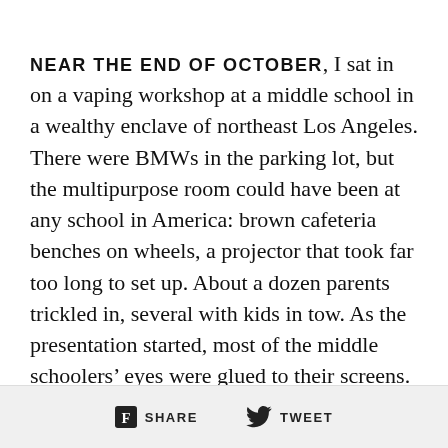NEAR THE END OF OCTOBER, I sat in on a vaping workshop at a middle school in a wealthy enclave of northeast Los Angeles. There were BMWs in the parking lot, but the multipurpose room could have been at any school in America: brown cafeteria benches on wheels, a projector that took far too long to set up. About a dozen parents trickled in, several with kids in tow. As the presentation started, most of the middle schoolers' eyes were glued to their screens.
“I’m sure you have heard a lot about this in the
SHARE   TWEET